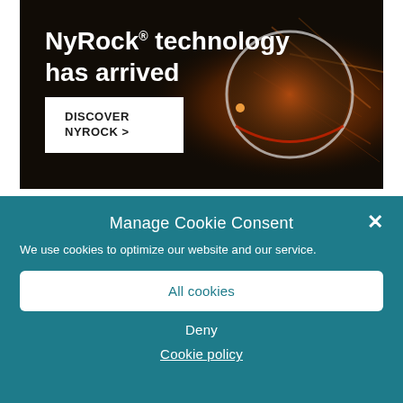[Figure (illustration): Dark advertisement banner for NyRock technology. Black background with glowing orange/amber abstract imagery on the right. Text reads 'NyRock® technology has arrived' in white bold font. A white rectangular button with 'DISCOVER NYROCK >' text in black.]
Manage Cookie Consent
We use cookies to optimize our website and our service.
All cookies
Deny
Cookie policy